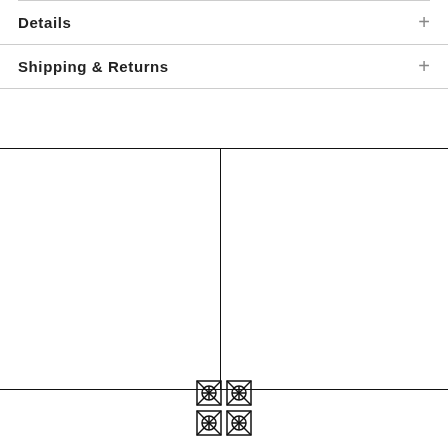Details +
Shipping & Returns +
[Figure (other): Two blank image placeholder boxes side by side, divided by a vertical line, all enclosed in a rectangular border.]
[Figure (logo): Decorative geometric knot/lattice logo mark centered at the bottom of the page.]